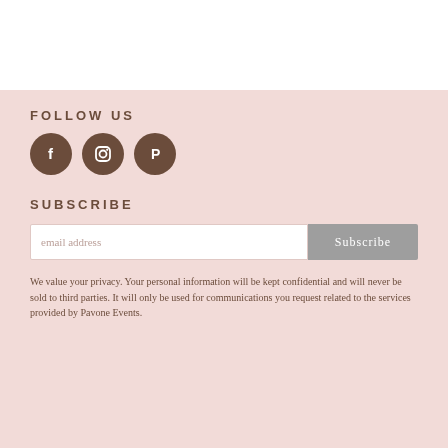FOLLOW US
[Figure (illustration): Three circular social media icons in dark brown: Facebook (f), Instagram (camera), Pinterest (P)]
SUBSCRIBE
[Figure (other): Email subscription form with text input placeholder 'email address' and a grey 'Subscribe' button]
We value your privacy. Your personal information will be kept confidential and will never be sold to third parties. It will only be used for communications you request related to the services provided by Pavone Events.